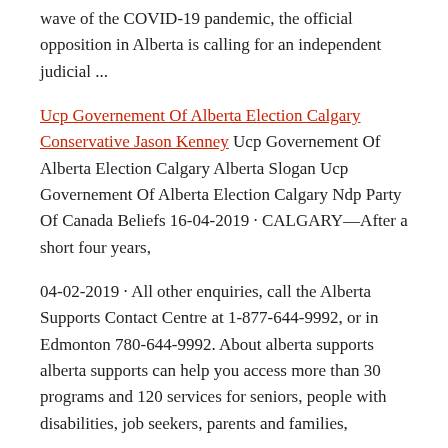wave of the COVID-19 pandemic, the official opposition in Alberta is calling for an independent judicial ...
Ucp Governement Of Alberta Election Calgary Conservative Jason Kenney Ucp Governement Of Alberta Election Calgary Alberta Slogan Ucp Governement Of Alberta Election Calgary Ndp Party Of Canada Beliefs 16-04-2019 · CALGARY—After a short four years,
04-02-2019 · All other enquiries, call the Alberta Supports Contact Centre at 1-877-644-9992, or in Edmonton 780-644-9992. About alberta supports alberta supports can help you access more than 30 programs and 120 services for seniors, people with disabilities, job seekers, parents and families,